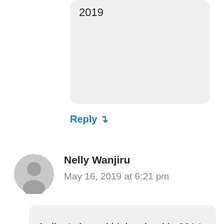2019
Reply ↴
Nelly Wanjiru
May 16, 2019 at 6:21 pm
hello, I cleared high school in 2014 and scored a C plain. Can I apply for placement through the KUCCPS system even if it means targeting the next academic year's admission? Regards.